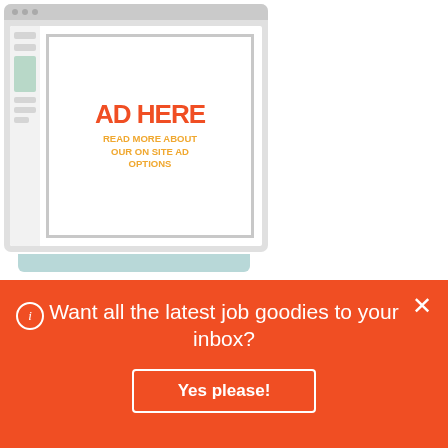[Figure (illustration): Mock browser/website frame with an advertisement placeholder showing 'AD HERE' in red and 'READ MORE ABOUT OUR ON SITE AD OPTIONS' in orange, with a sidebar and a teal tab underneath.]
[Figure (infographic): Orange-bordered white card with bold uppercase text 'GET THE LATEST GOOD JOBS, ARTICLES & MORE IN YOUR INBOX' and an italic orange link 'Sign up for emails']
Want all the latest job goodies to your inbox?
Yes please!